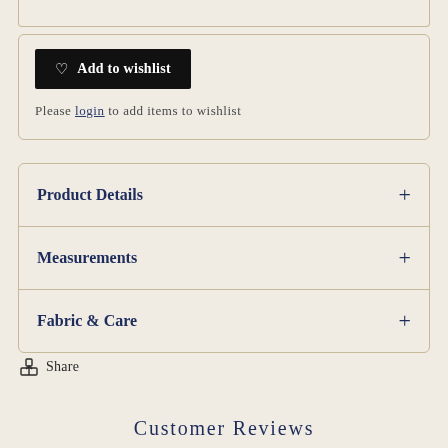Add to wishlist
Please login to add items to wishlist
Product Details
Measurements
Fabric & Care
Share
Customer Reviews